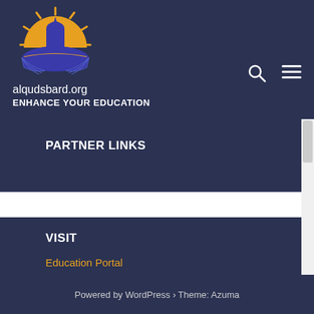[Figure (logo): alqudsbard.org logo with sun, building/mosque silhouette and open book in blue and orange colors]
alqudsbard.org
ENHANCE YOUR EDUCATION
PARTNER LINKS
VISIT
Education Portal
Powered by WordPress › Theme: Azuma